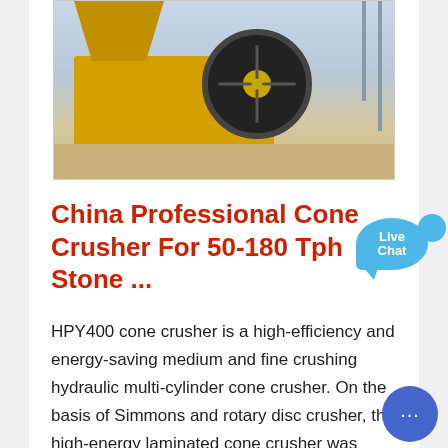[Figure (photo): Industrial jaw crusher machine with yellow body and large black flywheel, photographed outdoors at a construction or mining site with structural scaffolding in background]
China Professional Cone Crusher For 50-180 Tph Stone ...
HPY400 cone crusher is a high-efficiency and energy-saving medium and fine crushing hydraulic multi-cylinder cone crusher. On the basis of Simmons and rotary disc crusher, the high-energy laminated cone crusher was creatively developed by introducing the advantages of high-energy crusher and the structural characteristics of the